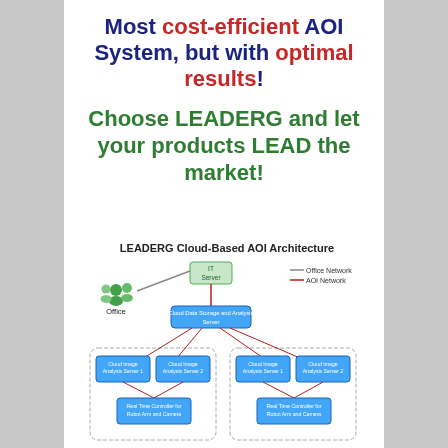Most cost-efficient AOI System, but with optimal results!
Choose LEADERG and let your products LEAD the market!
[Figure (network-graph): LEADERG Cloud-Based AOI Architecture diagram showing IT Server connected to Office (people icon) and Cloud Data Storage and Analysis Server, which connects to two groups of Cloud Image Analysis Servers and Real Time Controllers for Robot Arm and Camera. Legend shows Office Network (gray line) and AOI Network (red line).]